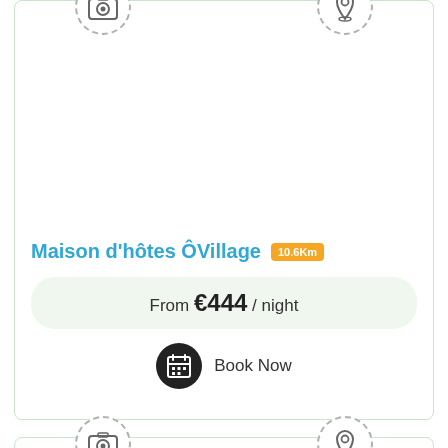[Figure (other): Accommodation listing card for Maison d'hôtes ÔVillage showing camera and map pin icons, property name, distance badge (10.6Km), price from €444/night, and Book Now button]
Maison d'hôtes ÔVillage 10.6Km
From €444 / night
Book Now
[Figure (other): Second accommodation listing card (partial) showing camera and map pin icons at top]